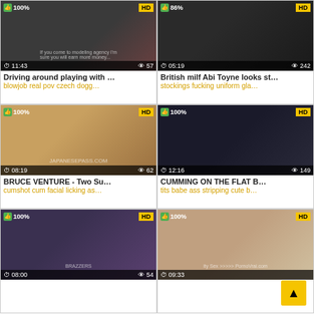[Figure (screenshot): Video thumbnail 1: woman in red jacket, time 11:43, 57 views, 100% rating, HD]
Driving around playing with …
blowjob real pov czech dogg…
[Figure (screenshot): Video thumbnail 2: interracial scene, time 05:19, 242 views, 86% rating, HD]
British milf Abi Toyne looks st…
stockings fucking uniform gla…
[Figure (screenshot): Video thumbnail 3: Japanese content watermark JAPANESEPASS.COM, time 08:19, 62 views, 100% rating, HD]
BRUCE VENTURE - Two Su…
cumshot cum facial licking as…
[Figure (screenshot): Video thumbnail 4: woman in dark shorts, time 12:16, 149 views, 100% rating, HD]
CUMMING ON THE FLAT B…
tits babe ass stripping cute b…
[Figure (screenshot): Video thumbnail 5: Brazzers watermark, woman in white top and black skirt, time 08:00, 54 views, 100% rating, HD]
[Figure (screenshot): Video thumbnail 6: blonde hair close-up, PornoVrai.com watermark, time 09:33, 100% rating, HD]